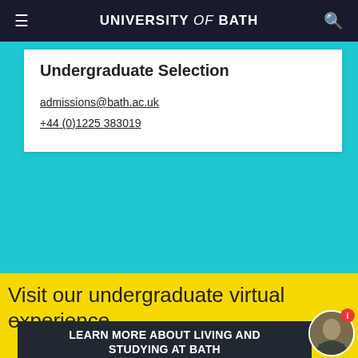UNIVERSITY of BATH
Undergraduate Selection
admissions@bath.ac.uk
+44 (0)1225 383019
Visit our undergraduate virtual experience
LEARN MORE ABOUT LIVING AND STUDYING AT BATH